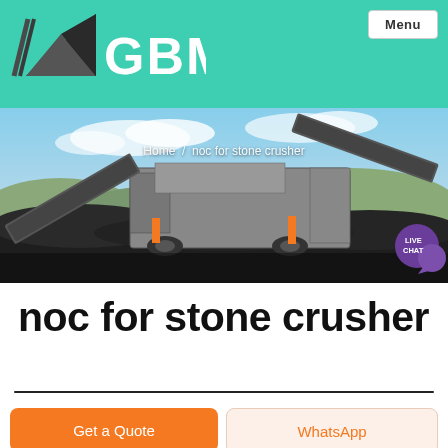GBM — Menu
[Figure (photo): Mobile stone crusher / screening plant machinery on a job site with blue sky background. Breadcrumb reads: Home / noc for stone crusher]
noc for stone crusher
Get a Quote | WhatsApp